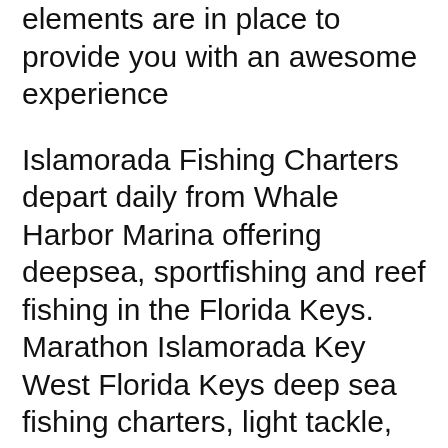elements are in place to provide you with an awesome experience
Islamorada Fishing Charters depart daily from Whale Harbor Marina offering deepsea, sportfishing and reef fishing in the Florida Keys. Marathon Islamorada Key West Florida Keys deep sea fishing charters, light tackle, live bait fishing! Go Offshore on Florida Keys Sportfishing Charters.
Find The Best Fishing Charters In Islamorada Located Near Our Brand New Luxury Resort. Islamorada Is The Top Destination In The USA For Sport Fishing. Great savings on Florida Keys, United States fishing charters online.